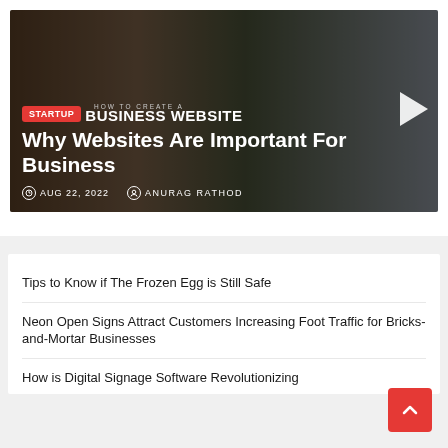[Figure (screenshot): Blog post card showing a dark banner image with people, a red STARTUP badge, 'HOW TO CREATE A BUSINESS WEBSITE' text overlay, and main title 'Why Websites Are Important For Business' with date AUG 22, 2022 and author ANURAG RATHOD]
Why Websites Are Important For Business
AUG 22, 2022   ANURAG RATHOD
Tips to Know if The Frozen Egg is Still Safe
Neon Open Signs Attract Customers Increasing Foot Traffic for Bricks-and-Mortar Businesses
How is Digital Signage Software Revolutionizing